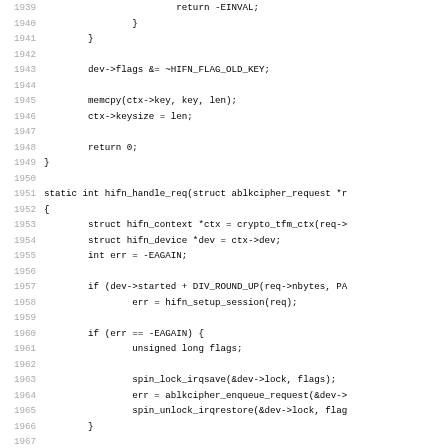Source code listing, lines 1939-1971, C programming language showing hifn crypto device driver functions including hifn_handle_req and hifn_setup_crypto_req